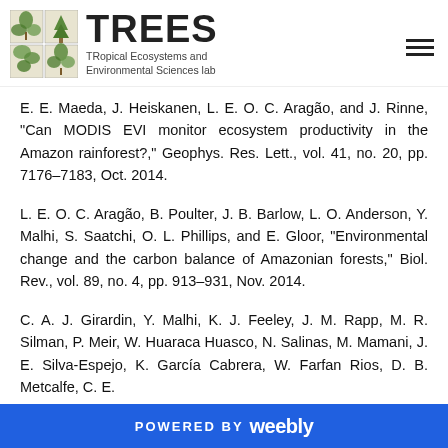TREES TRopical Ecosystems and Environmental Sciences lab
E. E. Maeda, J. Heiskanen, L. E. O. C. Aragão, and J. Rinne, "Can MODIS EVI monitor ecosystem productivity in the Amazon rainforest?," Geophys. Res. Lett., vol. 41, no. 20, pp. 7176–7183, Oct. 2014.
L. E. O. C. Aragão, B. Poulter, J. B. Barlow, L. O. Anderson, Y. Malhi, S. Saatchi, O. L. Phillips, and E. Gloor, "Environmental change and the carbon balance of Amazonian forests," Biol. Rev., vol. 89, no. 4, pp. 913–931, Nov. 2014.
C. A. J. Girardin, Y. Malhi, K. J. Feeley, J. M. Rapp, M. R. Silman, P. Meir, W. Huaraca Huasco, N. Salinas, M. Mamani, J. E. Silva-Espejo, K. García Cabrera, W. Farfan Rios, D. B. Metcalfe, C. E.
POWERED BY weebly